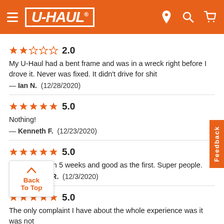U-HAUL
2.0
My U-Haul had a bent frame and was in a wreck right before I drove it. Never was fixed. It didn't drive for shit
— Ian N.  (12/28/2020)
5.0
Nothing!
— Kenneth F.  (12/23/2020)
5.0
Second time in 5 weeks and good as the first. Super people.
— MICHAEL R.  (12/3/2020)
5.0
The only complaint I have about the whole experience was it was not